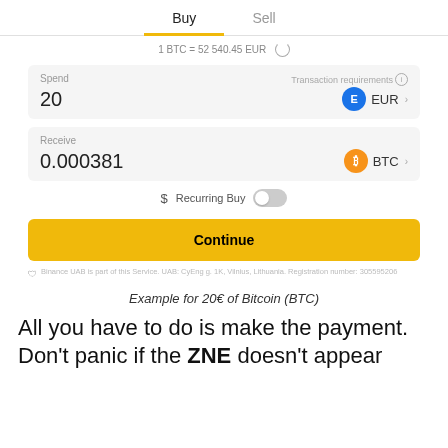Buy | Sell
1 BTC = 52540.45 EUR
Spend
20
Transaction requirements
EUR
Receive
0.000381
BTC
Recurring Buy
Continue
Binance UAB is part of this Service. UAB: CyEng g. 1K, Vilnius, Lithuania. Registration number: 305595206
Example for 20€ of Bitcoin (BTC)
All you have to do is make the payment. Don't panic if the ZNE doesn't appear